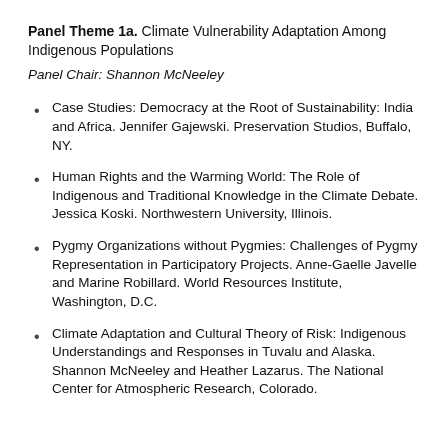Panel Theme 1a. Climate Vulnerability Adaptation Among Indigenous Populations
Panel Chair: Shannon McNeeley
Case Studies: Democracy at the Root of Sustainability: India and Africa. Jennifer Gajewski. Preservation Studios, Buffalo, NY.
Human Rights and the Warming World: The Role of Indigenous and Traditional Knowledge in the Climate Debate. Jessica Koski. Northwestern University, Illinois.
Pygmy Organizations without Pygmies: Challenges of Pygmy Representation in Participatory Projects. Anne-Gaelle Javelle and Marine Robillard. World Resources Institute, Washington, D.C.
Climate Adaptation and Cultural Theory of Risk: Indigenous Understandings and Responses in Tuvalu and Alaska. Shannon McNeeley and Heather Lazarus. The National Center for Atmospheric Research, Colorado.